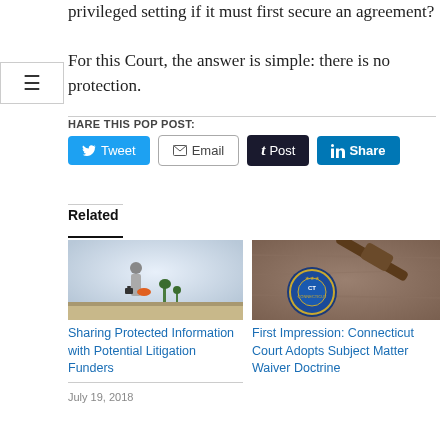privileged setting if it must first secure an agreement?

For this Court, the answer is simple: there is no protection.
SHARE THIS POP POST:
[Figure (infographic): Social sharing buttons: Tweet (Twitter/blue), Email (outlined), Post (Tumblr/dark), Share (LinkedIn/blue)]
Related
[Figure (photo): Woman in business attire watering small plants with an orange watering can in a misty outdoor setting]
Sharing Protected Information with Potential Litigation Funders
July 19, 2018
[Figure (photo): Connecticut state seal medallion and a wooden gavel on a wooden surface]
First Impression: Connecticut Court Adopts Subject Matter Waiver Doctrine